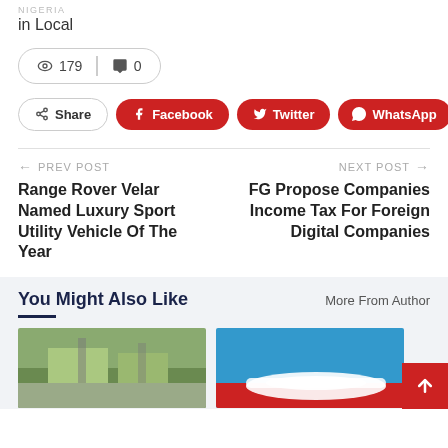Nigeria
in Local
179  0
Share  Facebook  Twitter  WhatsApp  +
← PREV POST
Range Rover Velar Named Luxury Sport Utility Vehicle Of The Year
NEXT POST →
FG Propose Companies Income Tax For Foreign Digital Companies
You Might Also Like
More From Author
[Figure (photo): Aerial view of green landscape with roads]
[Figure (photo): Red and white airplane against blue sky]